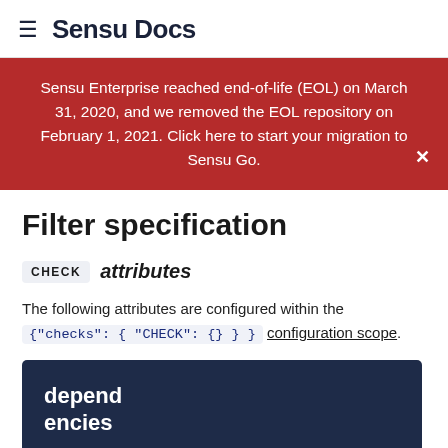≡ Sensu Docs
Sensu Enterprise reached end-of-life (EOL) on March 31, 2020, and we removed the EOL repository on February 1, 2021. Click here to start your migration to Sensu Go.
Filter specification
CHECK attributes
The following attributes are configured within the {"checks": { "CHECK": {} } } configuration scope.
dependencies